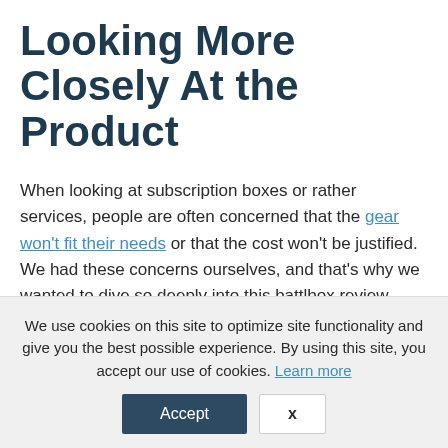Looking More Closely At the Product
When looking at subscription boxes or rather services, people are often concerned that the gear won't fit their needs or that the cost won't be justified. We had these concerns ourselves, and that's why we wanted to dive so deeply into this battlbox review.
We use cookies on this site to optimize site functionality and give you the best possible experience. By using this site, you accept our use of cookies. Learn more